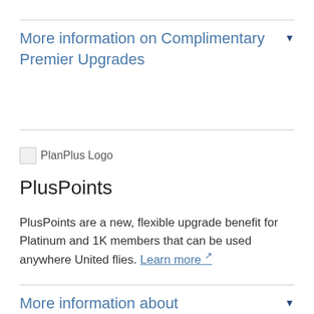More information on Complimentary Premier Upgrades
[Figure (logo): PlanPlus Logo placeholder image]
PlusPoints
PlusPoints are a new, flexible upgrade benefit for Platinum and 1K members that can be used anywhere United flies. Learn more ↗
More information about